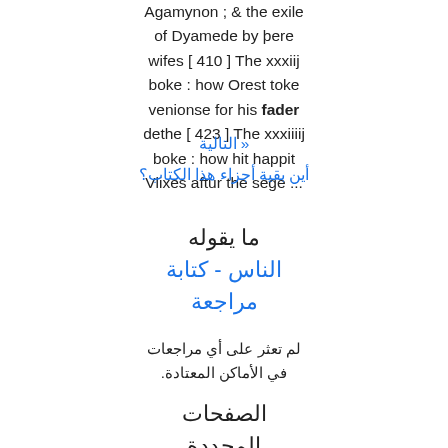Agamynon ; & the exile of Dyamede by þere wifes [ 410 ] The xxxiij boke : how Orest toke venionse for his fader dethe [ 423 ] The xxxiiiij boke : how hit happit Vlixes aftur the sege ...
« التالية
أين بقية أجزاء هذا الكتاب؟
ما يقوله الناس - كتابة مراجعة
لم تعثر على أي مراجعات في الأماكن المعتادة.
الصفحات المحددة